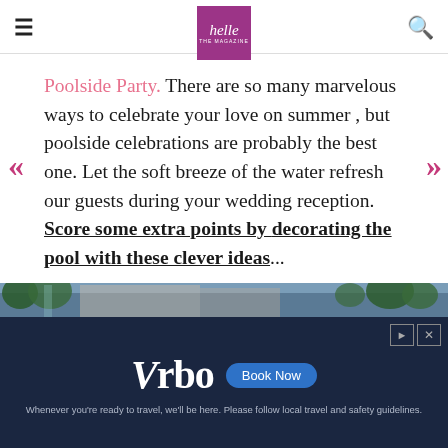helle THE MAGAZINE
Poolside Party. There are so many marvelous ways to celebrate your love on summer , but poolside celebrations are probably the best one. Let the soft breeze of the water refresh our guests during your wedding reception. Score some extra points by decorating the pool with these clever ideas...
[Figure (photo): Photo strip of outdoor scene with trees and building, with Vrbo advertisement banner below showing logo, Book Now button, and tagline text]